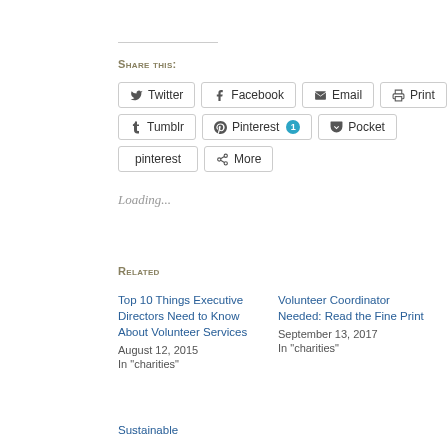Share this:
[Figure (other): Social sharing buttons: Twitter, Facebook, Email, Print, Tumblr, Pinterest (1), Pocket, pinterest, More]
Loading...
Related
Top 10 Things Executive Directors Need to Know About Volunteer Services
August 12, 2015
In "charities"
Volunteer Coordinator Needed: Read the Fine Print
September 13, 2017
In "charities"
Sustainable